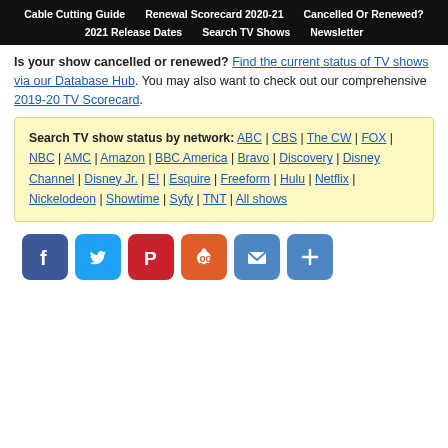Cable Cutting Guide | Renewal Scorecard 2020-21 | Cancelled Or Renewed? | 2021 Release Dates | Search TV Shows | Newsletter
Is your show cancelled or renewed? Find the current status of TV shows via our Database Hub. You may also want to check out our comprehensive 2019-20 TV Scorecard.
Search TV show status by network: ABC | CBS | The CW | FOX | NBC | AMC | Amazon | BBC America | Bravo | Discovery | Disney Channel | Disney Jr. | E! | Esquire | Freeform | Hulu | Netflix | Nickelodeon | Showtime | Syfy | TNT | All shows
[Figure (infographic): Social share buttons: Facebook (blue), Twitter (light blue), Pinterest (red), Reddit (orange), Email (blue), More (blue with plus sign)]